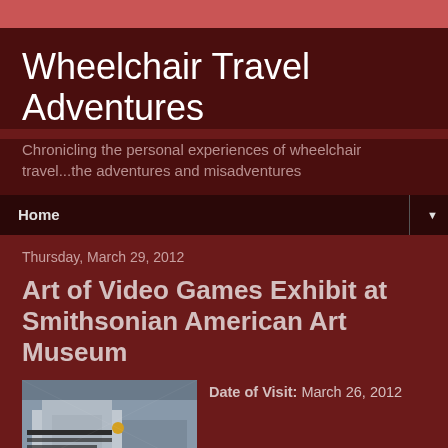Wheelchair Travel Adventures
Chronicling the personal experiences of wheelchair travel...the adventures and misadventures
Home
Thursday, March 29, 2012
Art of Video Games Exhibit at Smithsonian American Art Museum
[Figure (photo): Exterior photo of a building with a sign reading 'American Art Center for American Art Collection']
Date of Visit: March 26, 2012